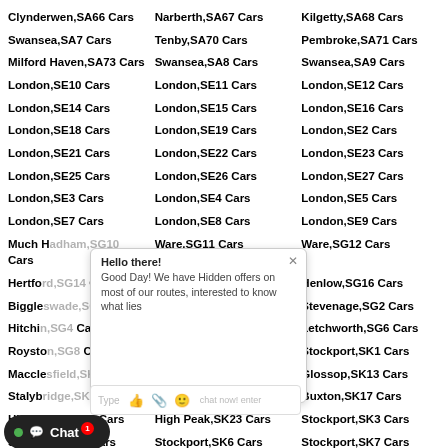Clynderwen,SA66 Cars
Narberth,SA67 Cars
Kilgetty,SA68 Cars
Swansea,SA7 Cars
Tenby,SA70 Cars
Pembroke,SA71 Cars
Milford Haven,SA73 Cars
Swansea,SA8 Cars
Swansea,SA9 Cars
London,SE10 Cars
London,SE11 Cars
London,SE12 Cars
London,SE14 Cars
London,SE15 Cars
London,SE16 Cars
London,SE18 Cars
London,SE19 Cars
London,SE2 Cars
London,SE21 Cars
London,SE22 Cars
London,SE23 Cars
London,SE25 Cars
London,SE26 Cars
London,SE27 Cars
London,SE3 Cars
London,SE4 Cars
London,SE5 Cars
London,SE7 Cars
London,SE8 Cars
London,SE9 Cars
Much Hadham,SG10 Cars
Ware,SG11 Cars
Ware,SG12 Cars
Hertford,SG14 Cars
Arlesey,SG15 Cars
Henlow,SG16 Cars
Biggleswade,SG18 Cars
Sandy,SG19 Cars
Stevenage,SG2 Cars
Hitchin,SG4 Cars
Hitchin,SG5 Cars
Letchworth,SG6 Cars
Royston,SG8 Cars
Buntingford,SG9 Cars
Stockport,SK1 Cars
Macclesfield,SK10 Cars
Stockport,SK12 Cars
Glossop,SK13 Cars
Stalybridge,SK15 Cars
Dukinfield,SK16 Cars
Buxton,SK17 Cars
High Peak,SK22 Cars
High Peak,SK23 Cars
Stockport,SK3 Cars
Stockport,SK5 Cars
Stockport,SK6 Cars
Stockport,SK7 Cars